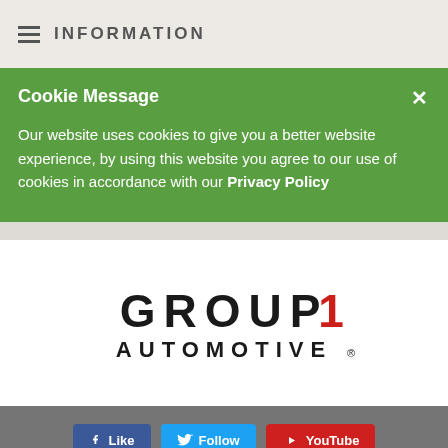INFORMATION
Cookie Message
Our website uses cookies to give you a better website experience, by using this website you agree to our use of cookies in accordance with our Privacy Policy
[Figure (logo): Group 1 Automotive logo — stylized text reading GROUP 1 AUTOMOTIVE with the numeral 1 in red]
Like  Follow  YouTube
Sign In    Privacy Policy